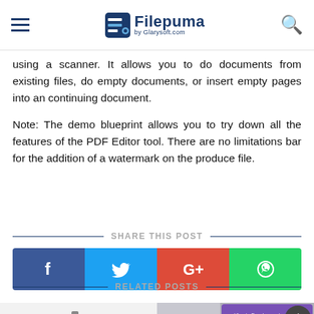Filepuma by Glarysoft.com
using a scanner. It allows you to do documents from existing files, do empty documents, or insert empty pages into an continuing document.
Note: The demo blueprint allows you to try down all the features of the PDF Editor tool. There are no limitations bar for the addition of a watermark on the produce file.
SHARE THIS POST
[Figure (infographic): Social sharing buttons: Facebook (blue), Twitter (light blue), Google+ (red), WhatsApp (green)]
RELATED POSTS
[Figure (photo): Two related post thumbnails: a camera icon placeholder on the left, and a screenshot of a software/Ubuntu development topic on the right with a scroll-to-top button]